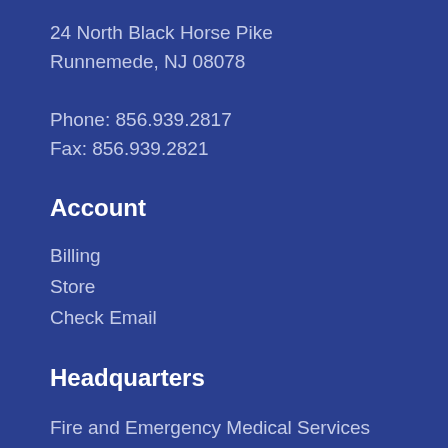24 North Black Horse Pike
Runnemede, NJ 08078
Phone: 856.939.2817
Fax: 856.939.2821
Account
Billing
Store
Check Email
Headquarters
Fire and Emergency Medical Services
26 East Second Avenue
Runnemede, NJ 08078